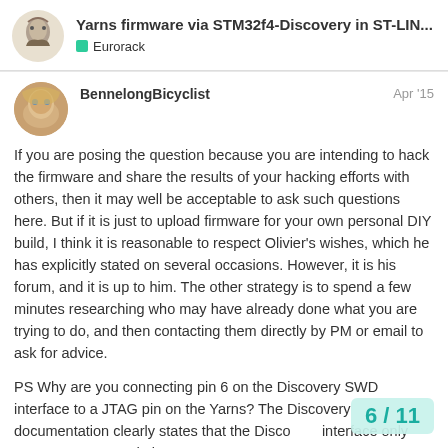Yarns firmware via STM32f4-Discovery in ST-LIN... | Eurorack
BennelongBicyclist
Apr '15
If you are posing the question because you are intending to hack the firmware and share the results of your hacking efforts with others, then it may well be acceptable to ask such questions here. But if it is just to upload firmware for your own personal DIY build, I think it is reasonable to respect Olivier's wishes, which he has explicitly stated on several occasions. However, it is his forum, and it is up to him. The other strategy is to spend a few minutes researching who may have already done what you are trying to do, and then contacting them directly by PM or email to ask for advice.
PS Why are you connecting pin 6 on the Discovery SWD interface to a JTAG pin on the Yarns? The Discovery documentation clearly states that the Discovery interface only supports SWD, and pin 6 on
6 / 11